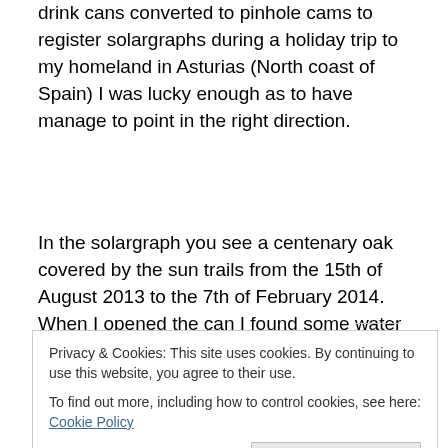drink cans converted to pinhole cams to register solargraphs during a holiday trip to my homeland in Asturias (North coast of Spain) I was lucky enough as to have manage to point in the right direction.
In the solargraph you see a centenary oak covered by the sun trails from the 15th of August 2013 to the 7th of February 2014. When I opened the can I found some water inside wetting the sensible black and white paper
Privacy & Cookies: This site uses cookies. By continuing to use this website, you agree to their use.
To find out more, including how to control cookies, see here: Cookie Policy
PS) the image you see above.